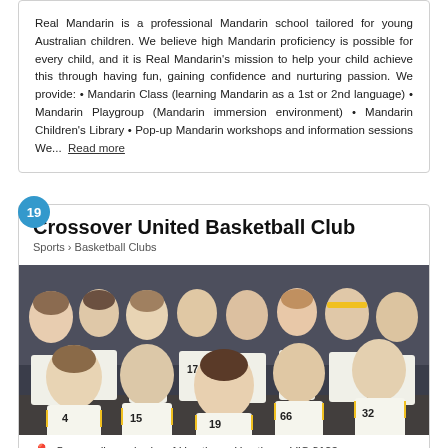Real Mandarin is a professional Mandarin school tailored for young Australian children. We believe high Mandarin proficiency is possible for every child, and it is Real Mandarin's mission to help your child achieve this through having fun, gaining confidence and nurturing passion. We provide: • Mandarin Class (learning Mandarin as a 1st or 2nd language) • Mandarin Playgroup (Mandarin immersion environment) • Mandarin Children's Library • Pop-up Mandarin workshops and information sessions We... Read more
Crossover United Basketball Club
Sports > Basketball Clubs
[Figure (photo): Group photo of children in white and yellow basketball jerseys, posing together in a gymnasium. Numbers visible include 33, 15, 40, 19, 66, 32.]
Surrounding suburbs of Hawthorn, Hawthorn, VIC 3122